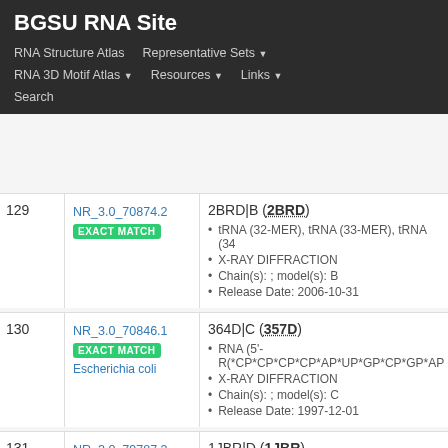BGSU RNA Site
RNA Structure Atlas | Representative Sets ▾ | RNA 3D Motif Atlas ▾ | Resources ▾ | Links ▾ | Search
| # | ID | Entry |
| --- | --- | --- |
| 129 | NR_3.0_70874.2
EXACT MATCH | 2BRD|B (2BRD)
• tRNA (32-MER), tRNA (33-MER), tRNA (34...
• X-RAY DIFFRACTION
• Chain(s): ; model(s): B
• Release Date: 2006-10-31 |
| 130 | NR_3.0_70846.1
EXACT MATCH
Escherichia coli | 364D|C (357D)
• RNA (5'-R(*CP*CP*CP*CP*AP*UP*GP*CP*GP*AP...
• X-RAY DIFFRACTION
• Chain(s): ; model(s): C
• Release Date: 1997-12-01 |
| 131 | NR_3.0_79787.3
EXACT MATCH | 1JBR|D (1JBR)
• 31-mer SRD RNA analog, 29-MER SARCIN...
• X-RAY DIFFRACTION |